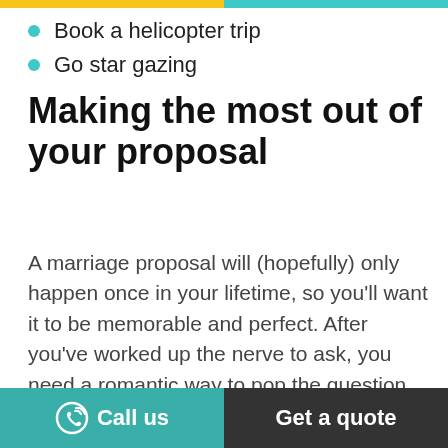Book a helicopter trip
Go star gazing
Making the most out of your proposal
A marriage proposal will (hopefully) only happen once in your lifetime, so you'll want it to be memorable and perfect. After you've worked up the nerve to ask, you need a romantic way to pop the question. Consider our creative marriage proposal ideas that are sure to make a big impression.
Call us   Get a quote